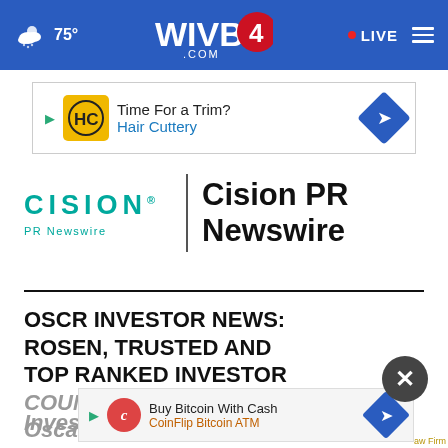WIVB4.com — 75° — LIVE
[Figure (screenshot): Advertisement banner: Hair Cuttery — Time For a Trim?]
[Figure (logo): Cision PR Newswire logo with teal CISION wordmark and PR Newswire text, vertical divider, and bold Cision PR Newswire title]
OSCR INVESTOR NEWS: ROSEN, TRUSTED AND TOP RANKED INVESTOR COUNSEL, Encourages Oscar… Investors with Losses in…
[Figure (screenshot): Advertisement banner: Buy Bitcoin With Cash — CoinFlip Bitcoin ATM]